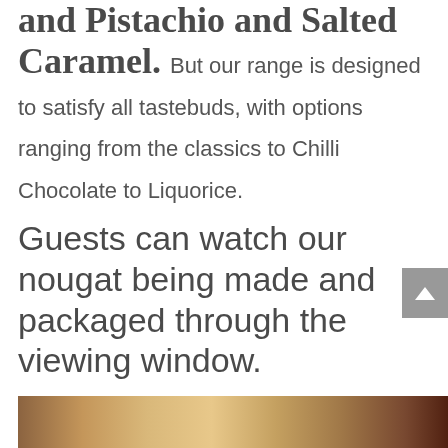and Pistachio and Salted Caramel. But our range is designed to satisfy all tastebuds, with options ranging from the classics to Chilli Chocolate to Liquorice.
Guests can watch our nougat being made and packaged through the viewing window.
[Figure (photo): Partial photo strip visible at the bottom of the page, showing what appears to be a food-related image in warm brown/orange tones.]